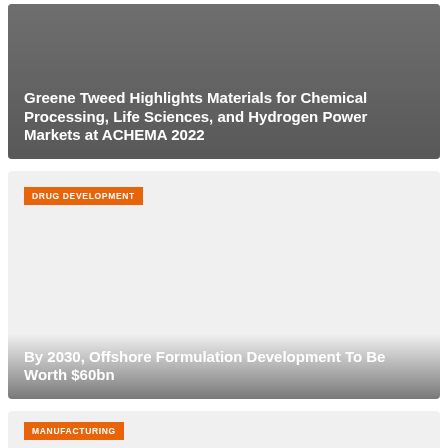[Figure (photo): Gray banner image for Greene Tweed article with dark overlay]
Greene Tweed Highlights Materials for Chemical Processing, Life Sciences, and Hydrogen Power Markets at ACHEMA 2022
[Figure (photo): Light gray card image for Drug Development / Offshore Formulation Development article with category badge]
DRUG DEVELOPMENT
By 2030, Offshore Formulation Development To Be Worth $60bn
[Figure (photo): Light gray card for Manufacturing article with category badge]
MANUFACTURING